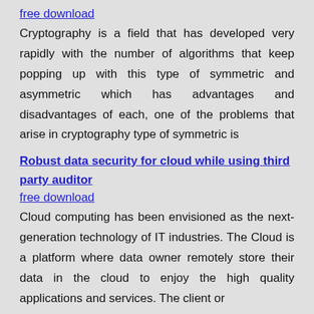free download
Cryptography is a field that has developed very rapidly with the number of algorithms that keep popping up with this type of symmetric and asymmetric which has advantages and disadvantages of each, one of the problems that arise in cryptography type of symmetric is
Robust data security for cloud while using third party auditor
free download
Cloud computing has been envisioned as the next-generation technology of IT industries. The Cloud is a platform where data owner remotely store their data in the cloud to enjoy the high quality applications and services. The client or